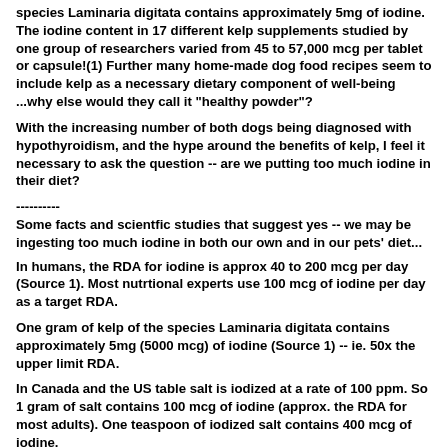species Laminaria digitata contains approximately 5mg of iodine. The iodine content in 17 different kelp supplements studied by one group of researchers varied from 45 to 57,000 mcg per tablet or capsule!(1) Further many home-made dog food recipes seem to include kelp as a necessary dietary component of well-being ...why else would they call it "healthy powder"?
With the increasing number of both dogs being diagnosed with hypothyroidism, and the hype around the benefits of kelp, I feel it necessary to ask the question -- are we putting too much iodine in their diet?
----------
Some facts and scientfic studies that suggest yes -- we may be ingesting too much iodine in both our own and in our pets' diet...
In humans, the RDA for iodine is approx 40 to 200 mcg per day (Source 1). Most nutrtional experts use 100 mcg of iodine per day as a target RDA.
One gram of kelp of the species Laminaria digitata contains approximately 5mg (5000 mcg) of iodine (Source 1) -- ie. 50x the upper limit RDA.
In Canada and the US table salt is iodized at a rate of 100 ppm. So 1 gram of salt contains 100 mcg of iodine (approx. the RDA for most adults). One teaspoon of iodized salt contains 400 mcg of iodine.